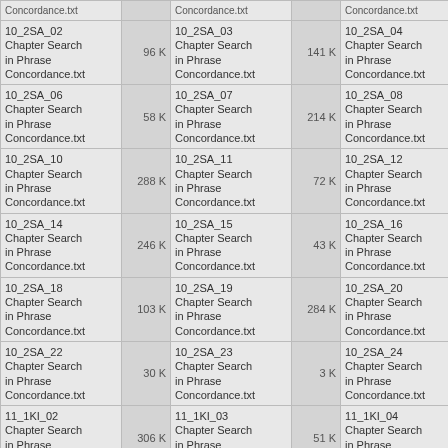| Name | Size | Name | Size | Name | Size | Name |
| --- | --- | --- | --- | --- | --- | --- |
| Concordance.txt |  | Concordance.txt |  | Concordance.txt |  | C... |
| 10_2SA_02 Chapter Search in Phrase Concordance.txt | 96 K | 10_2SA_03 Chapter Search in Phrase Concordance.txt | 141 K | 10_2SA_04 Chapter Search in Phrase Concordance.txt | 74 K | C... |
| 10_2SA_06 Chapter Search in Phrase Concordance.txt | 58 K | 10_2SA_07 Chapter Search in Phrase Concordance.txt | 214 K | 10_2SA_08 Chapter Search in Phrase Concordance.txt | 202 K | 1... |
| 10_2SA_10 Chapter Search in Phrase Concordance.txt | 288 K | 10_2SA_11 Chapter Search in Phrase Concordance.txt | 72 K | 10_2SA_12 Chapter Search in Phrase Concordance.txt | 717 K | 1... |
| 10_2SA_14 Chapter Search in Phrase Concordance.txt | 246 K | 10_2SA_15 Chapter Search in Phrase Concordance.txt | 43 K | 10_2SA_16 Chapter Search in Phrase Concordance.txt | 50 K | 1... |
| 10_2SA_18 Chapter Search in Phrase Concordance.txt | 103 K | 10_2SA_19 Chapter Search in Phrase Concordance.txt | 284 K | 10_2SA_20 Chapter Search in Phrase Concordance.txt | 2 K | 1... |
| 10_2SA_22 Chapter Search in Phrase Concordance.txt | 30 K | 10_2SA_23 Chapter Search in Phrase Concordance.txt | 3 K | 10_2SA_24 Chapter Search in Phrase Concordance.txt | 295 K | 1... |
| 11_1KI_02 Chapter Search in Phrase Concordance.txt | 306 K | 11_1KI_03 Chapter Search in Phrase Concordance.txt | 51 K | 11_1KI_04 Chapter Search in Phrase Concordance.txt | 90 K | 1... |